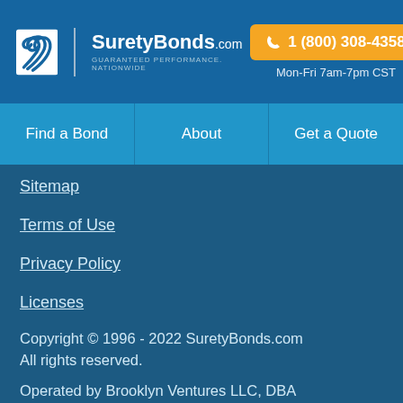SuretyBonds.com GUARANTEED PERFORMANCE. NATIONWIDE | 1 (800) 308-4358 | Mon-Fri 7am-7pm CST
Find a Bond | About | Get a Quote
Sitemap
Terms of Use
Privacy Policy
Licenses
Copyright © 1996 - 2022 SuretyBonds.com All rights reserved.
Operated by Brooklyn Ventures LLC, DBA SuretyBonds.com an